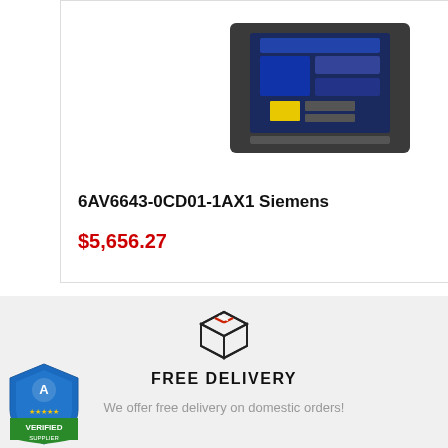[Figure (photo): Product image of 6AV6643-0CD01-1AX1 Siemens device, dark colored electronic module with blue circuit board visible]
6AV6643-0CD01-1AX1 Siemens
$5,656.27
[Figure (photo): Partial product image of 6AV6642-0BA01-1A Siemens device, cut off on right edge]
6AV6642-0BA01-1A
$1,595.86
[Figure (illustration): Package/box delivery icon with red and white striped tape on top]
FREE DELIVERY
We offer free delivery on domestic orders!
[Figure (logo): Authorized Supplier Verified badge, green and blue shield shape with star ratings]